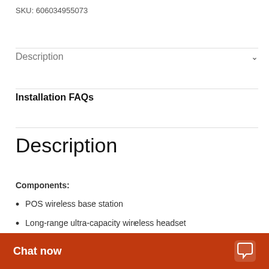SKU: 606034955073
Description
Installation FAQs
Description
Components:
POS wireless base station
Long-range ultra-capacity wireless headset
Aluminum weather-resistant vandal-proof SmartSpeaker®
Wireless headse…